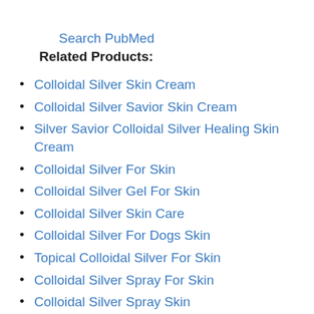Search PubMed
Related Products:
Colloidal Silver Skin Cream
Colloidal Silver Savior Skin Cream
Silver Savior Colloidal Silver Healing Skin Cream
Colloidal Silver For Skin
Colloidal Silver Gel For Skin
Colloidal Silver Skin Care
Colloidal Silver For Dogs Skin
Topical Colloidal Silver For Skin
Colloidal Silver Spray For Skin
Colloidal Silver Spray Skin